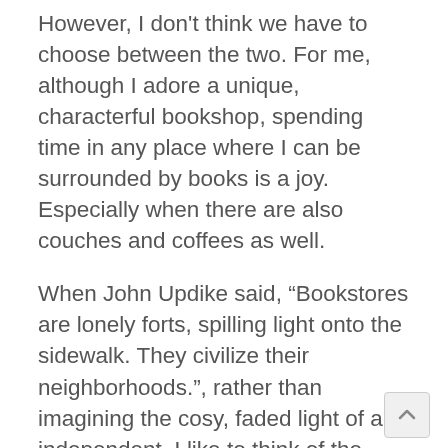However, I don't think we have to choose between the two. For me, although I adore a unique, characterful bookshop, spending time in any place where I can be surrounded by books is a joy. Especially when there are also couches and coffees as well.
When John Updike said, “Bookstores are lonely forts, spilling light onto the sidewalk. They civilize their neighborhoods.”, rather than imagining the cosy, faded light of an independent, I like to think of the fluorescent glare of a book superstore, welcoming lonely wanderers late into the night.
Of course, one of the biggest challenge to bookshops come not from their bricks and